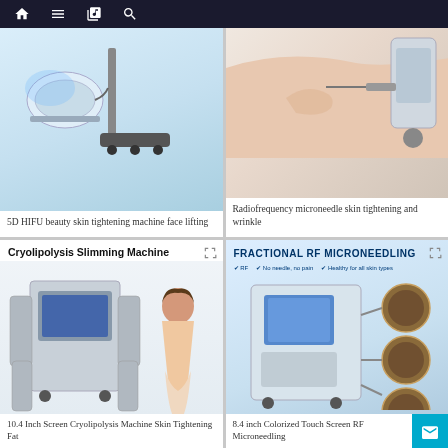Navigation bar with home, menu, book, and search icons
[Figure (photo): 5D HIFU beauty skin tightening machine face lifting device product photo on light blue background]
5D HIFU beauty skin tightening machine face lifting
[Figure (photo): Radiofrequency microneedle skin tightening and wrinkle treatment device with person's skin being treated]
Radiofrequency microneedle skin tightening and wrinkle
[Figure (photo): Cryolipolysis Slimming Machine with woman showing slim figure beside the device]
10.4 Inch Screen Cryolipolysis Machine Skin Tightening Fat
[Figure (photo): Fractional RF Microneedling machine with touchscreen and multiple applicator heads shown]
8.4 inch Colorized Touch Screen RF Microneedling